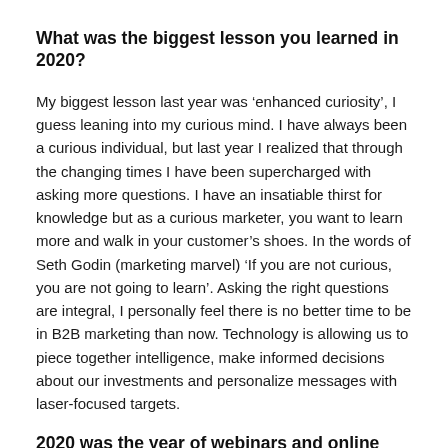What was the biggest lesson you learned in 2020?
My biggest lesson last year was ‘enhanced curiosity’, I guess leaning into my curious mind. I have always been a curious individual, but last year I realized that through the changing times I have been supercharged with asking more questions. I have an insatiable thirst for knowledge but as a curious marketer, you want to learn more and walk in your customer’s shoes. In the words of Seth Godin (marketing marvel) ‘If you are not curious, you are not going to learn’. Asking the right questions are integral, I personally feel there is no better time to be in B2B marketing than now. Technology is allowing us to piece together intelligence, make informed decisions about our investments and personalize messages with laser-focused targets.
2020 was the year of webinars and online events.